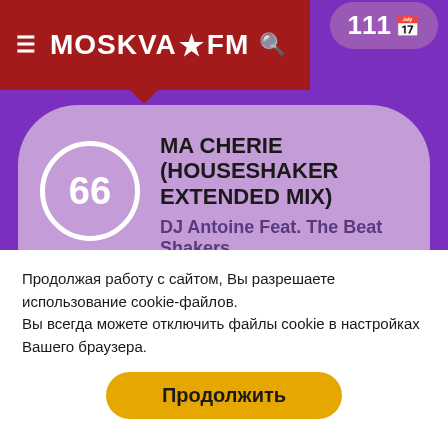MOSKVA FM
[Figure (screenshot): Top-right pill badge showing 111 with calendar icon]
[Figure (infographic): Music chart card: rank 66, song MA CHERIE (HOUSESHAKER EXTENDED MIX), artist DJ Antoine Feat. The Beat Shakers, badges: -6 down, 31 trending up, 88 calendar]
[Figure (infographic): Partial second music chart card showing EUPHORIA title]
Продолжая работу с сайтом, Вы разрешаете использование cookie-файлов.
Вы всегда можете отключить файлы cookie в настройках Вашего браузера.
Продолжить